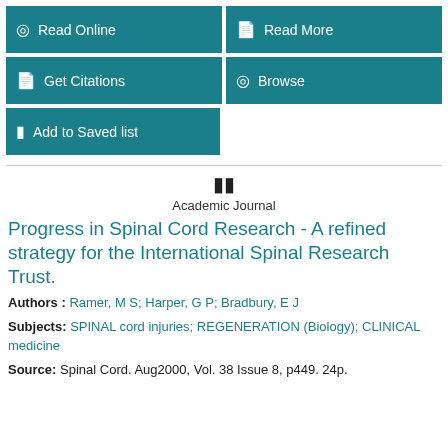[Figure (other): Navigation buttons: Read Online, Read More, Get Citations, Browse, Add to Saved list]
Academic Journal
Progress in Spinal Cord Research - A refined strategy for the International Spinal Research Trust.
Authors : Ramer, M S; Harper, G P; Bradbury, E J
Subjects: SPINAL cord injuries; REGENERATION (Biology); CLINICAL medicine
Source: Spinal Cord. Aug2000, Vol. 38 Issue 8, p449. 24p.